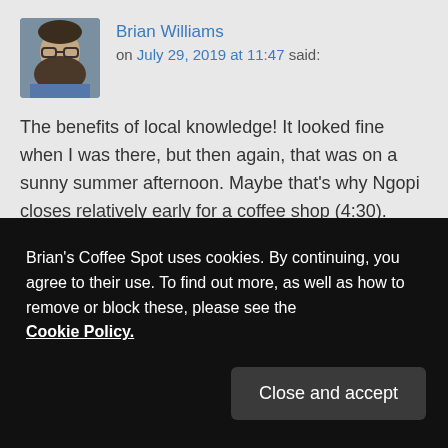Brian Williams on July 29, 2019 at 11:47 said:
The benefits of local knowledge! It looked fine when I was there, but then again, that was on a sunny summer afternoon. Maybe that's why Ngopi closes relatively early for a coffee shop (4:30).

Thanks,
Brian.
Reply ↓
Brian's Coffee Spot uses cookies. By continuing, you agree to their use. To find out more, as well as how to remove or block these, please see the Cookie Policy.
Close and accept